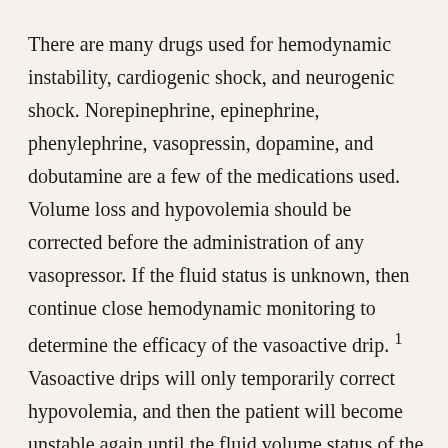There are many drugs used for hemodynamic instability, cardiogenic shock, and neurogenic shock. Norepinephrine, epinephrine, phenylephrine, vasopressin, dopamine, and dobutamine are a few of the medications used. Volume loss and hypovolemia should be corrected before the administration of any vasopressor. If the fluid status is unknown, then continue close hemodynamic monitoring to determine the efficacy of the vasoactive drip. ¹ Vasoactive drips will only temporarily correct hypovolemia, and then the patient will become unstable again until the fluid volume status of the patient is corrected. All critical care drips must be on an infusion pump. All patients on vasoactive medications must be on a continuous heart